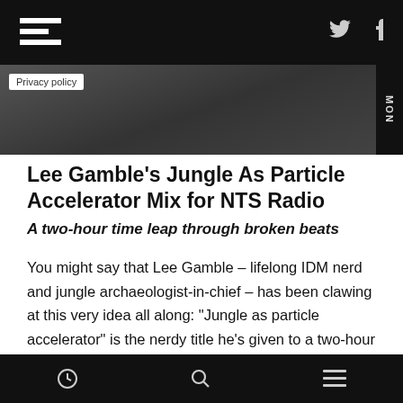F [logo] | Twitter | Facebook
[Figure (photo): Dark hero image with 'Privacy policy' pill overlay and 'MON' vertical text on right side]
Lee Gamble’s Jungle As Particle Accelerator Mix for NTS Radio
A two-hour time leap through broken beats
You might say that Lee Gamble – lifelong IDM nerd and jungle archaeologist-in-chief – has been clawing at this very idea all along: “Jungle as particle accelerator” is the nerdy title he’s given to a two-hour time-leap on NTS Radio. Starting in 1991 with the protean twitchings of Omni Trio, as jungle crawled out of hardcore’s primordial soup, the first half of the mix chugs through the bangers
[clock icon] [search icon] [menu icon]